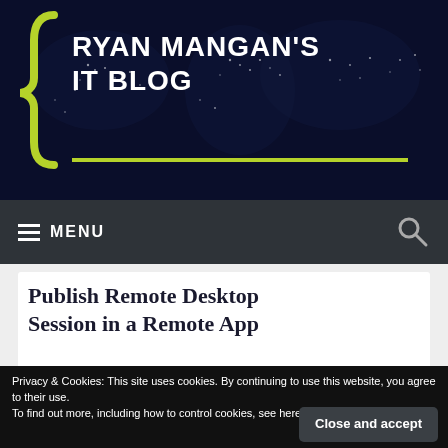[Figure (logo): Ryan Mangan's IT Blog header banner with dark navy world map background, green curly brace logo on left, white bold uppercase title text, and green horizontal divider line]
≡ MENU
Publish Remote Desktop Session in a Remote App
Privacy & Cookies: This site uses cookies. By continuing to use this website, you agree to their use.
To find out more, including how to control cookies, see here: Cookie Policy
Close and accept